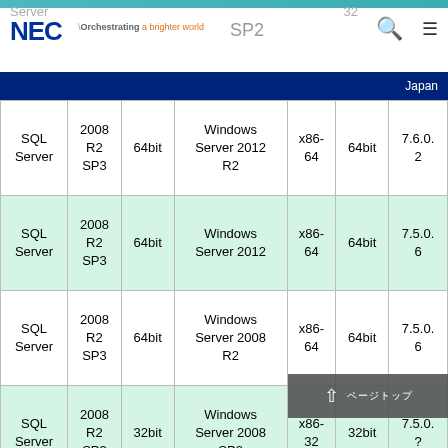NEC Orchestrating a brighter world SP2 Japan
| Product | Version | Bitness | OS | Arch | OSBit | Build |
| --- | --- | --- | --- | --- | --- | --- |
| SQL Server | 2008 R2 SP3 | 64bit | Windows Server 2012 R2 | x86-64 | 64bit | 7.6.0.2 |
| SQL Server | 2008 R2 SP3 | 64bit | Windows Server 2012 | x86-64 | 64bit | 7.5.0.6 |
| SQL Server | 2008 R2 SP3 | 64bit | Windows Server 2008 R2 | x86-64 | 64bit | 7.5.0.6 |
| SQL Server | 2008 R2 SP3 | 32bit | Windows Server 2008 SP2 | x86-32 | 32bit | 7.5.0.? |